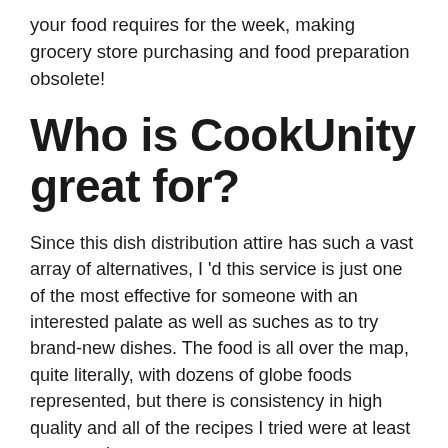your food requires for the week, making grocery store purchasing and food preparation obsolete!
Who is CookUnity great for?
Since this dish distribution attire has such a vast array of alternatives, I 'd this service is just one of the most effective for someone with an interested palate as well as suches as to try brand-new dishes. The food is all over the map, quite literally, with dozens of globe foods represented, but there is consistency in high quality and all of the recipes I tried were at least strong or better.